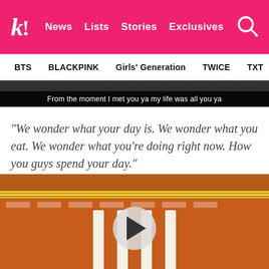k! News  Lists  Stories  Exclusives
BTS  BLACKPINK  Girls' Generation  TWICE  TXT  SEVE
[Figure (screenshot): Video still with subtitle text: From the moment I met you ya my life was all you ya]
“We wonder what your day is. We wonder what you eat. We wonder what you’re doing right now. How you guys spend your day.”
[Figure (screenshot): Video player with building scene and subtitle: I'm curious about everything How's your day]